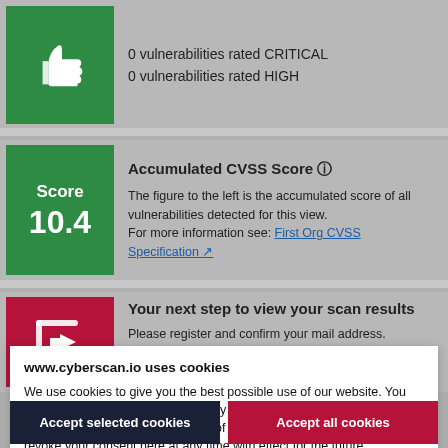0 vulnerabilities rated CRITICAL
0 vulnerabilities rated HIGH
Accumulated CVSS Score
The figure to the left is the accumulated score of all vulnerabilities detected for this view.
For more information see: First Org CVSS Specification
Your next step to view your scan results
Please register and confirm your mail address.
www.cyberscan.io uses cookies
We use cookies to give you the best possible use of our website. You can find out more in our data privacy policy or imprint. By clicking on "Allow all", you consent to the use of these technologies. You can revoke your consent here at any time with effect for the future.
Required | Statistic
More details
Accept selected cookies | Accept all cookies